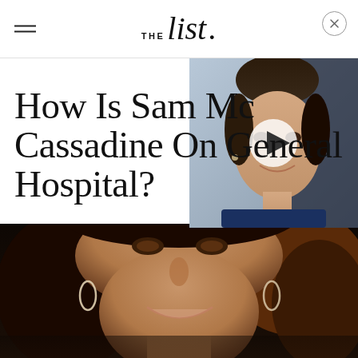THE List.
[Figure (photo): Video thumbnail showing a woman with dark hair pulled back, smiling, wearing a blue turtleneck, with a white play button overlay]
How Is Sam Mc[Cassadine] Cassadine On General Hospital?
[Figure (photo): Close-up photo of a woman with brown hair, brown eyes, wearing diamond hoop earrings, smiling, against a dark background]